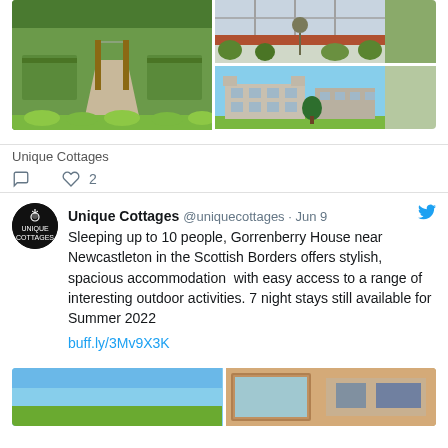[Figure (photo): Three photos in a grid: left large photo shows a vegetable garden with raised beds and gravel path; top right shows a greenhouse window with plants and brick ledge; bottom right shows a large stone manor house (Gorrenberry House) with blue sky]
Unique Cottages
♡ 2
Unique Cottages @uniquecottages · Jun 9
Sleeping up to 10 people, Gorrenberry House near Newcastleton in the Scottish Borders offers stylish, spacious accommodation  with easy access to a range of interesting outdoor activities. 7 night stays still available for Summer 2022
buff.ly/3Mv9X3K
[Figure (photo): Two partial photos at the bottom: left shows a blue sky scene, right shows an interior room with wooden furniture]